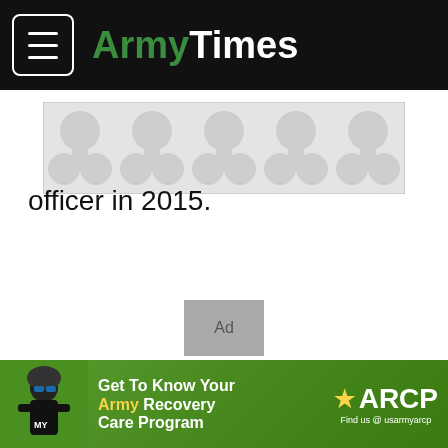ArmyTimes
[Figure (other): Advertisement banner placeholder with repeating circular pattern in grey tones]
officer in 2015.
[Figure (other): Ad placeholder grey box]
[Figure (other): Get To Know Your Army Recovery Care Program - ARCP banner advertisement with soldier photo]